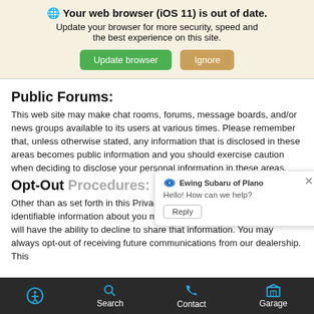[Figure (screenshot): Browser update notification banner with globe icon, bold title 'Your web browser (iOS 11) is out of date.', subtitle text, and two buttons: green 'Update browser' and tan 'Ignore']
Public Forums:
This web site may make chat rooms, forums, message boards, and/or news groups available to its users at various times. Please remember that, unless otherwise stated, any information that is disclosed in these areas becomes public information and you should exercise caution when deciding to disclose your personal information in these areas.
[Figure (screenshot): Chat popup overlay from Ewing Subaru of Plano with close X button, logo icon, text 'Hello! How can we help?' and a Reply button]
Opt-Out Procedures:
Other than as set forth in this Privacy Policy, when any personally-identifiable information about you may be shared with third parties you will have the ability to decline to share that information. You may always opt-out of receiving future communications from our dealership. This
Accessibility  Search  Contact  Garage